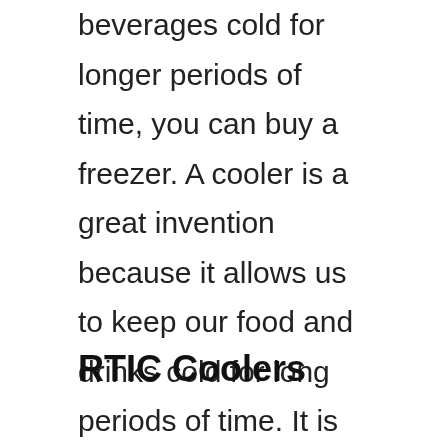beverages cold for longer periods of time, you can buy a freezer. A cooler is a great invention because it allows us to keep our food and drinks cold for long periods of time. It is also convenient because we can carry it around wherever we go. We can even take it outside when it gets hot.
RTIC Coolers
...